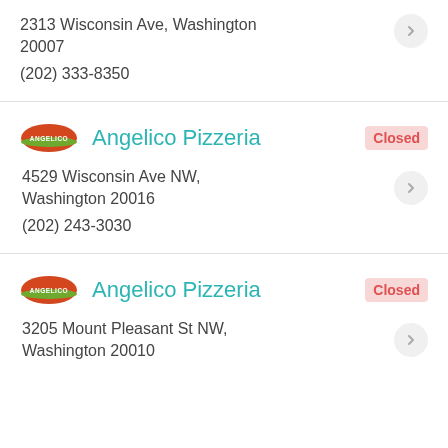2313 Wisconsin Ave, Washington 20007
(202) 333-8350
Angelico Pizzeria
Closed
4529 Wisconsin Ave NW, Washington 20016
(202) 243-3030
Angelico Pizzeria
Closed
3205 Mount Pleasant St NW, Washington 20010